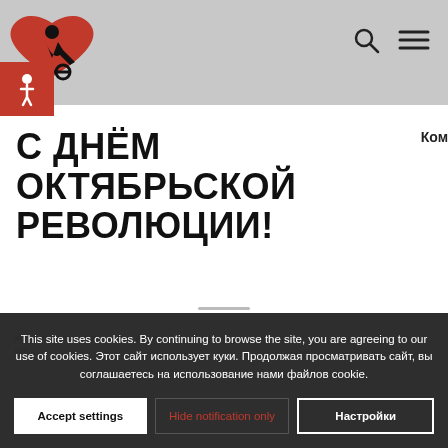[Figure (logo): Red heart with black wheelchair user silhouette logo, plus red accessibility badge with wheelchair symbol]
С ДНЁМ ОКТЯБРЬСКОЙ РЕВОЛЮЦИИ!
Ком
This site uses cookies. By continuing to browse the site, you are agreeing to our use of cookies. Этот сайт использует куки. Продолжая просматривать сайт, вы соглашаетесь на использование нами файлов cookie.